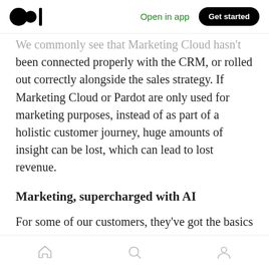Medium logo | Open in app | Get started
We commonly see that Marketing Cloud hasn't been connected properly with the CRM, or rolled out correctly alongside the sales strategy. If Marketing Cloud or Pardot are only used for marketing purposes, instead of as part of a holistic customer journey, huge amounts of insight can be lost, which can lead to lost revenue.
Marketing, supercharged with AI
For some of our customers, they've got the basics right and have interlinked marketing and sales
Home | Search | Profile